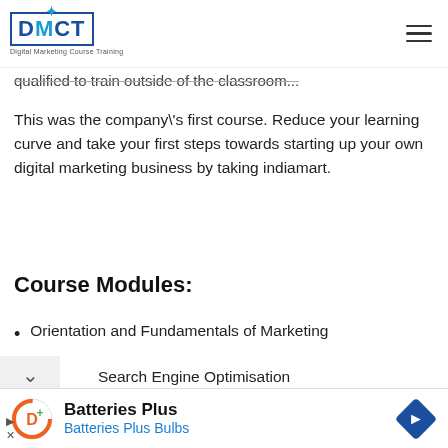DMCT - Digital Marketing Course Training
...qualified to train outside of the classroom...
This was the company\'s first course. Reduce your learning curve and take your first steps towards starting up your own digital marketing business by taking indiamart.
Course Modules:
Orientation and Fundamentals of Marketing
Search Engine Optimisation
[Figure (screenshot): Advertisement banner for Batteries Plus Bulbs with orange circular logo, navigation arrow diamond icon]